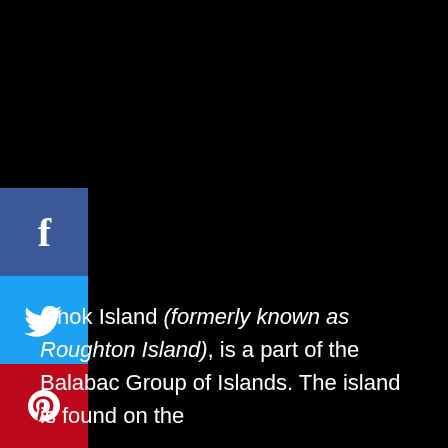[Figure (infographic): Social media sharing buttons sidebar on left: Facebook (blue), Twitter (light blue), Pinterest (red), LinkedIn (medium blue), Tumblr (dark blue-grey), Reddit (orange), Email (light blue). Rest of page is black background.]
Onok Island (formerly known as Roughton Island), is a part of the Balabac Group of Islands. The island is found on the